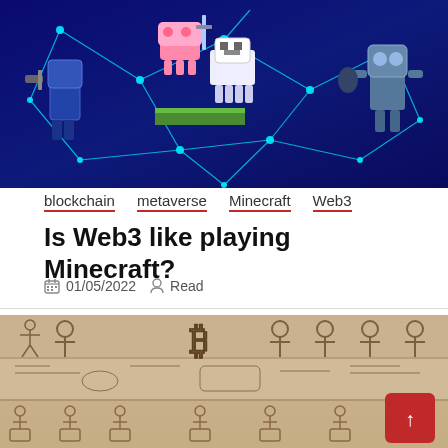[Figure (illustration): Digital art illustration showing Minecraft-style characters and a robot/figure with a hammer against a dark blue blockchain network background with glowing cyan network lines and nodes]
blockchain
metaverse
Minecraft
Web3
Is Web3 like playing Minecraft?
01/05/2022   Read
[Figure (photo): Photo of ancient Egyptian hieroglyphic carvings on a stone wall, showing rows of hieroglyphs including an ankh symbol and what appears to be a Bitcoin symbol (B with two vertical lines) carved in stone]